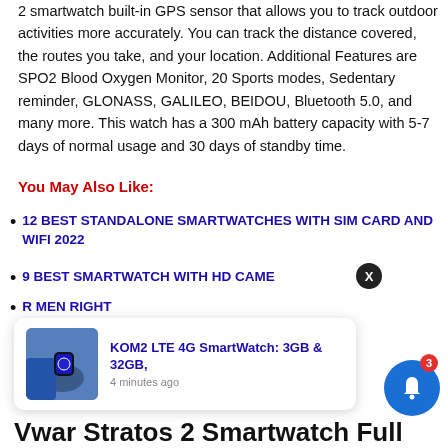2 smartwatch built-in GPS sensor that allows you to track outdoor activities more accurately. You can track the distance covered, the routes you take, and your location. Additional Features are SPO2 Blood Oxygen Monitor, 20 Sports modes, Sedentary reminder, GLONASS, GALILEO, BEIDOU, Bluetooth 5.0, and many more. This watch has a 300 mAh battery capacity with 5-7 days of normal usage and 30 days of standby time.
You May Also Like:
12 BEST STANDALONE SMARTWATCHES WITH SIM CARD AND WIFI 2022
9 BEST SMARTWATCH WITH HD CAMERA 2022
R MEN RIGHT
[Figure (screenshot): Popup notification card showing KOM2 LTE 4G SmartWatch: 3GB & 32GB, with a photo of a smartwatch on a wrist, posted 4 minutes ago]
KOM2 LTE 4G SmartWatch: 3GB & 32GB,
4 minutes ago
Vwar Stratos 2 Smartwatch Full